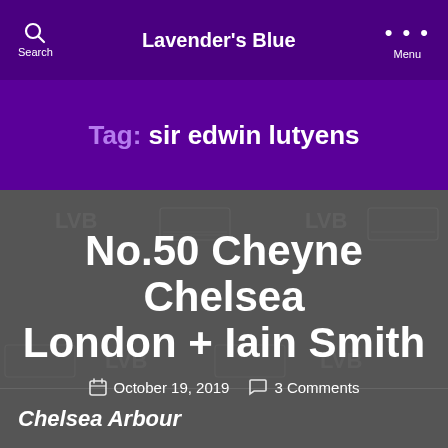Lavender's Blue
Tag: sir edwin lutyens
No.50 Cheyne Chelsea London + Iain Smith
October 19, 2019   3 Comments
Chelsea Arbour